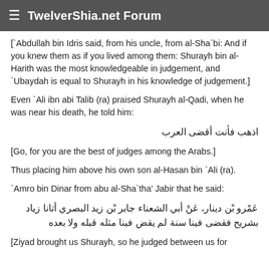TwelverShia.net Forum
[`Abdullah bin Idris said, from his uncle, from al-Sha`bi: And if you knew them as if you lived among them: Shurayh bin al-Harith was the most knowledgeable in judgement, and `Ubaydah is equal to Shurayh in his knowledge of judgement.]
Even `Ali ibn abi Talib (ra) praised Shurayh al-Qadi, when he was near his death, he told him:
اذهب فأنت أقضى العرب
[Go, for you are the best of judges among the Arabs.]
Thus placing him above his own son al-Hasan bin `Ali (ra).
`Amro bin Dinar from abu al-Sha`tha' Jabir that he said:
عَمْرو بْن دينار، عَنْ أبي الشعناء جابر بْن زيد البصري أتانا زياد بشريح فقضى فينا سنة لم يقض فينا مثله قبله ولا بعده
[Ziyad brought us Shurayh, so he judged between us for